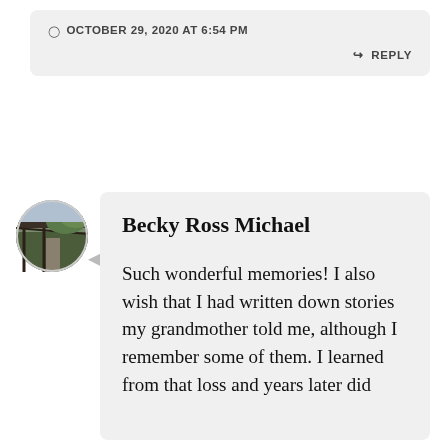OCTOBER 29, 2020 AT 6:54 PM
REPLY
[Figure (photo): Circular avatar photo showing a covered walkway or train platform with vegetation]
Becky Ross Michael
Such wonderful memories! I also wish that I had written down stories my grandmother told me, although I remember some of them. I learned from that loss and years later did